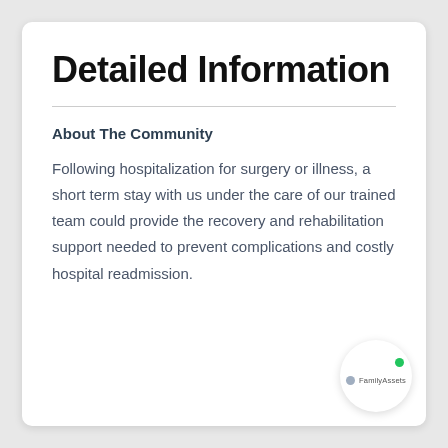Detailed Information
About The Community
Following hospitalization for surgery or illness, a short term stay with us under the care of our trained team could provide the recovery and rehabilitation support needed to prevent complications and costly hospital readmission.